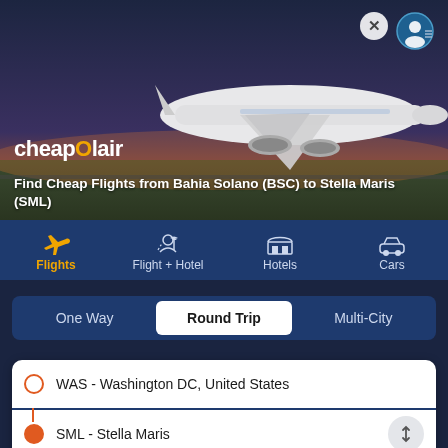[Figure (screenshot): CheapOair airline booking website screenshot with hero banner showing airplane on tarmac at dusk]
Find Cheap Flights from Bahia Solano (BSC) to Stella Maris (SML)
Flights | Flight + Hotel | Hotels | Cars
One Way | Round Trip | Multi-City
WAS - Washington DC, United States
SML - Stella Maris